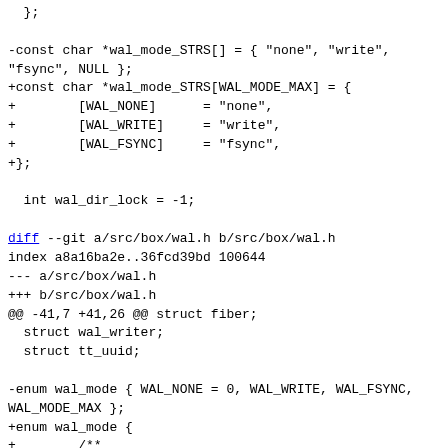};

-const char *wal_mode_STRS[] = { "none", "write", "fsync", NULL };
+const char *wal_mode_STRS[WAL_MODE_MAX] = {
+        [WAL_NONE]      = "none",
+        [WAL_WRITE]     = "write",
+        [WAL_FSYNC]     = "fsync",
+};

  int wal_dir_lock = -1;

diff --git a/src/box/wal.h b/src/box/wal.h
index a8a16ba2e..36fcd39bd 100644
--- a/src/box/wal.h
+++ b/src/box/wal.h
@@ -41,7 +41,26 @@ struct fiber;
  struct wal_writer;
  struct tt_uuid;

-enum wal_mode { WAL_NONE = 0, WAL_WRITE, WAL_FSYNC, WAL_MODE_MAX };
+enum wal_mode {
+        /**
+         * Do not write data at all.
+         */
+        WAL_NONE,
+
+        /**
+         * Write without waiting the data to be